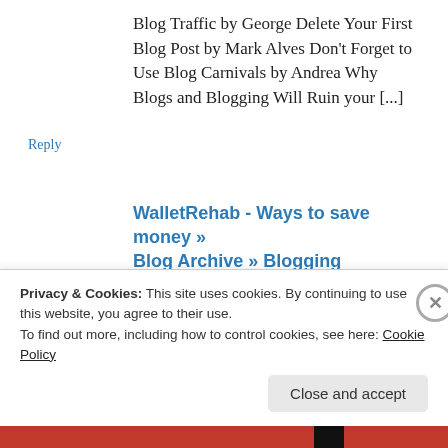Blog Traffic by George Delete Your First Blog Post by Mark Alves Don't Forget to Use Blog Carnivals by Andrea Why Blogs and Blogging Will Ruin your [...]
Reply
WalletRehab - Ways to save money » Blog Archive » Blogging Mistakes! Don't let this happen to you!
April 3, 2007 at 4:51 am
[...] Delete Your First Blog Post by Mark...
Privacy & Cookies: This site uses cookies. By continuing to use this website, you agree to their use.
To find out more, including how to control cookies, see here: Cookie Policy
Close and accept